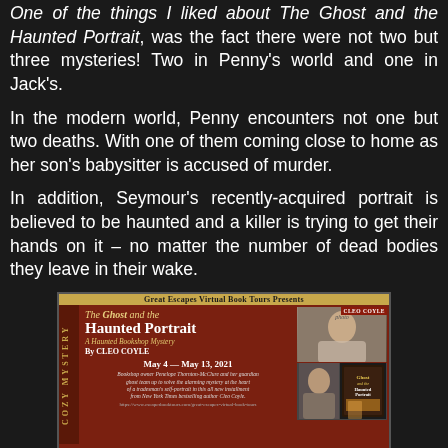One of the things I liked about The Ghost and the Haunted Portrait, was the fact there were not two but three mysteries! Two in Penny's world and one in Jack's.
In the modern world, Penny encounters not one but two deaths. With one of them coming close to home as her son's babysitter is accused of murder.
In addition, Seymour's recently-acquired portrait is believed to be haunted and a killer is trying to get their hands on it – no matter the number of dead bodies they leave in their wake.
[Figure (infographic): Great Escapes Virtual Book Tours banner for The Ghost and the Haunted Portrait by Cleo Coyle, A Haunted Bookshop Mystery. May 4 – May 13, 2021. Shows author photos and book cover. Side text reads COZY MYSTERY.]